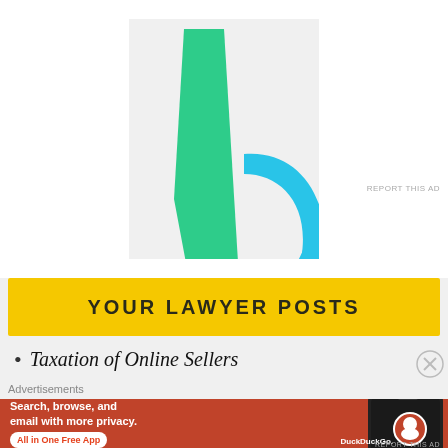[Figure (logo): Abstract logo with green angular shape on left and blue curved arc on right, on light gray background]
REPORT THIS AD
YOUR LAWYER POSTS
Taxation of Online Sellers
Advertisements
[Figure (illustration): DuckDuckGo advertisement banner: Search, browse, and email with more privacy. All in One Free App. Shows DuckDuckGo logo on phone mockup.]